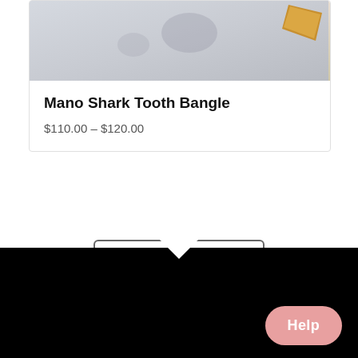[Figure (photo): Product photo of Mano Shark Tooth Bangle jewelry on a light background with a gold shark tooth visible]
Mano Shark Tooth Bangle
$110.00 – $120.00
Shop all bracelets
[Figure (illustration): Black section with downward pointing white chevron/arrow divider and 'Rings' written in white cursive script]
Help